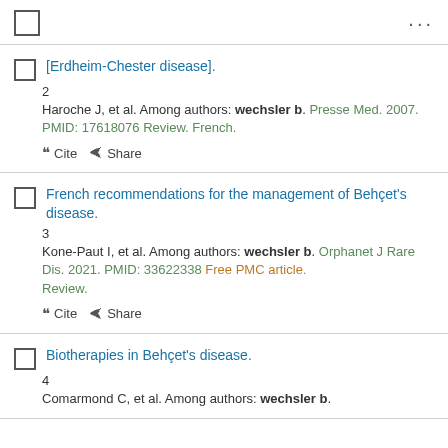checkbox | ...
[Erdheim-Chester disease]. Haroche J, et al. Among authors: wechsler b. Presse Med. 2007. PMID: 17618076 Review. French.
French recommendations for the management of Behçet's disease. Kone-Paut I, et al. Among authors: wechsler b. Orphanet J Rare Dis. 2021. PMID: 33622338 Free PMC article. Review.
Biotherapies in Behçet's disease. Comarmond C, et al. Among authors: wechsler b.